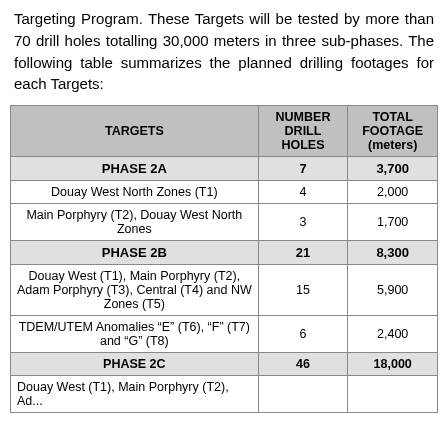Targeting Program. These Targets will be tested by more than 70 drill holes totalling 30,000 meters in three sub-phases. The following table summarizes the planned drilling footages for each Targets:
| TARGETS | NUMBER DRILL HOLES | TOTAL FOOTAGE (meters) |
| --- | --- | --- |
| PHASE 2A | 7 | 3,700 |
| Douay West North Zones (T1) | 4 | 2,000 |
| Main Porphyry (T2), Douay West North Zones | 3 | 1,700 |
| PHASE 2B | 21 | 8,300 |
| Douay West (T1), Main Porphyry (T2), Adam Porphyry (T3), Central (T4) and NW Zones (T5) | 15 | 5,900 |
| TDEM/UTEM Anomalies “E” (T6), “F” (T7) and “G” (T8) | 6 | 2,400 |
| PHASE 2C | 46 | 18,000 |
| Douay West (T1), Main Porphyry (T2), Ad... |  |  |